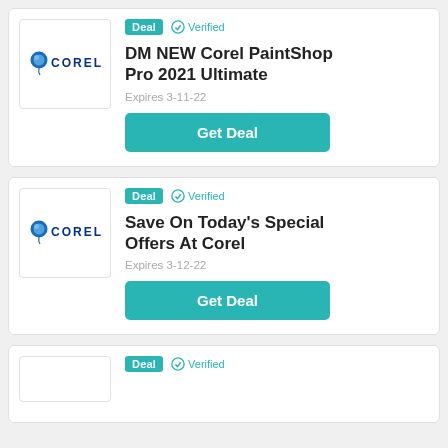[Figure (logo): Corel logo with blue balloon and COREL text]
Deal  ✓ Verified
DM NEW Corel PaintShop Pro 2021 Ultimate
Expires 3-11-22
Get Deal
[Figure (logo): Corel logo with blue balloon and COREL text]
Deal  ✓ Verified
Save On Today's Special Offers At Corel
Expires 3-12-22
Get Deal
Deal  ✓ Verified